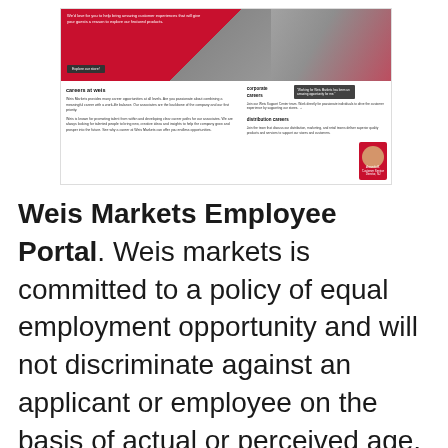[Figure (screenshot): Screenshot of Weis Markets website showing careers page with red banner image at top, 'careers at weis' section on the left with text about career opportunities, and 'corporate careers' and 'distribution careers' sections on the right with an employee photo.]
Weis Markets Employee Portal. Weis markets is committed to a policy of equal employment opportunity and will not discriminate against an applicant or employee on the basis of actual or perceived age, sex, sexual orientation, race, color, creed, religion, familial status, ethnicity, national origin, citizenship, disability, marital status, military or veteran status, or any other legally recognized protected basis under. For over 100 years, weis markets and